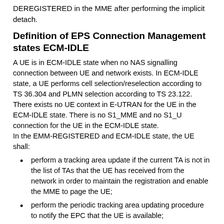DEREGISTERED in the MME after performing the implicit detach.
Definition of EPS Connection Management states ECM-IDLE
A UE is in ECM-IDLE state when no NAS signalling connection between UE and network exists. In ECM-IDLE state, a UE performs cell selection/reselection according to TS 36.304 and PLMN selection according to TS 23.122. There exists no UE context in E-UTRAN for the UE in the ECM-IDLE state. There is no S1_MME and no S1_U connection for the UE in the ECM-IDLE state.
In the EMM-REGISTERED and ECM-IDLE state, the UE shall:
perform a tracking area update if the current TA is not in the list of TAs that the UE has received from the network in order to maintain the registration and enable the MME to page the UE;
perform the periodic tracking area updating procedure to notify the EPC that the UE is available;